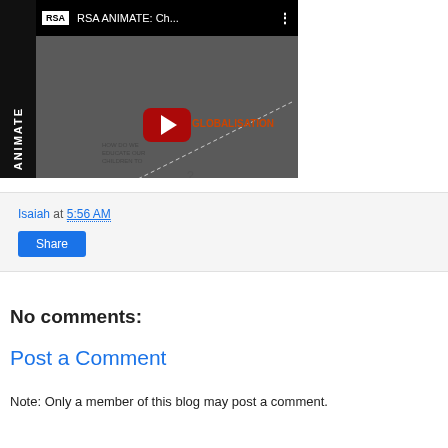[Figure (screenshot): YouTube video thumbnail for RSA ANIMATE: Ch... with play button overlay showing animated sketch illustration about globalization]
Isaiah at 5:56 AM
Share
No comments:
Post a Comment
Note: Only a member of this blog may post a comment.